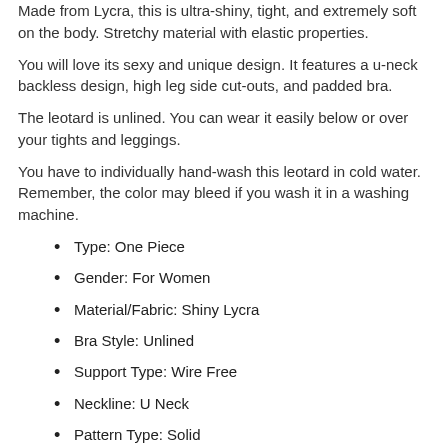Made from Lycra, this is ultra-shiny, tight, and extremely soft on the body. Stretchy material with elastic properties.
You will love its sexy and unique design. It features a u-neck backless design, high leg side cut-outs, and padded bra.
The leotard is unlined. You can wear it easily below or over your tights and leggings.
You have to individually hand-wash this leotard in cold water. Remember, the color may bleed if you wash it in a washing machine.
Type: One Piece
Gender: For Women
Material/Fabric: Shiny Lycra
Bra Style: Unlined
Support Type: Wire Free
Neckline: U Neck
Pattern Type: Solid
Waist: Natural